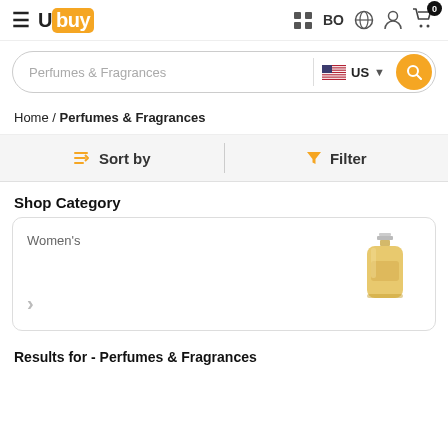Ubuy BO US — navigation header with hamburger, logo, country selector, cart
Perfumes & Fragrances — search input with US flag and search button
Home / Perfumes & Fragrances
Sort by   Filter
Shop Category
Women's
[Figure (photo): Golden/amber perfume bottle with silver cap, representing Women's fragrance category]
Results for - Perfumes & Fragrances